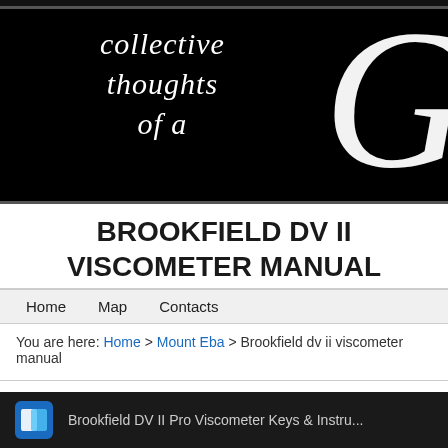[Figure (illustration): Website header banner with black background showing decorative script text 'collective thoughts of a' and a large decorative letter G on the right side]
BROOKFIELD DV II VISCOMETER MANUAL
Home
Map
Contacts
You are here: Home > Mount Eba > Brookfield dv ii viscometer manual
[Figure (screenshot): Bottom preview bar showing Brookfield DV II Pro Viscometer Keys & Instructions thumbnail]